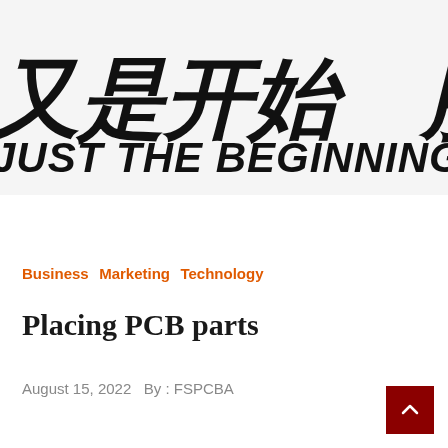[Figure (photo): Banner image with large bold Chinese characters '又是开始 服务永' and English text 'JUST THE BEGINNING  THE SERVI' in black italic style on light gray background, partially cropped]
Business  Marketing  Technology
Placing PCB parts
August 15, 2022   By : FSPCBA